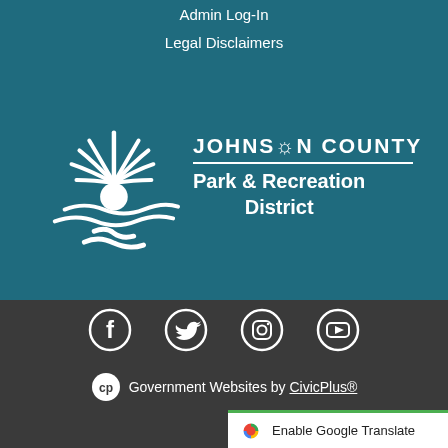Admin Log-In
Legal Disclaimers
[Figure (logo): Johnson County Park & Recreation District logo — white sunflower/leaf graphic on teal background with organization name in white text]
[Figure (infographic): Social media icons row: Facebook, Twitter, Instagram, YouTube — white outlines on dark grey bar]
Government Websites by CivicPlus®
Enable Google Translate